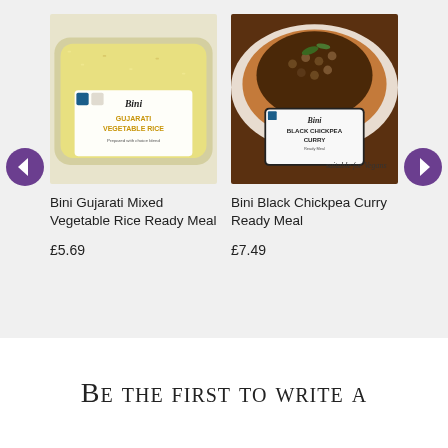[Figure (photo): Product photo of Bini Gujarati Vegetable Rice Ready Meal packaging – tray with golden rice and Bini brand label]
Bini Gujarati Mixed Vegetable Rice Ready Meal
£5.69
[Figure (photo): Product photo of Bini Black Chickpea Curry Ready Meal – a plate of black chickpea curry with the product packaging showing, text 'suitable for Vegans']
Bini Black Chickpea Curry Ready Meal
£7.49
Be the first to write a